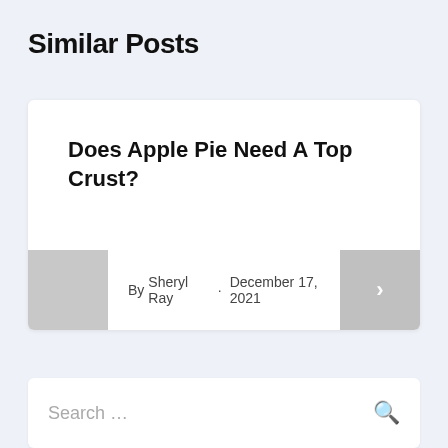Similar Posts
Does Apple Pie Need A Top Crust?
By Sheryl Ray · December 17, 2021
Search …